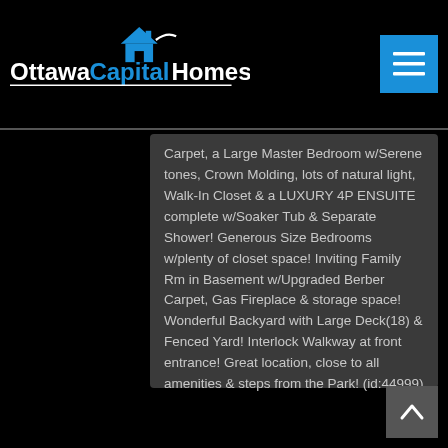[Figure (logo): Ottawa Capital Homes logo with house icon in blue and white on black background]
Carpet, a Large Master Bedroom w/Serene tones, Crown Molding, lots of natural light, Walk-In Closet & a LUXURY 4P ENSUITE complete w/Soaker Tub & Separate Shower! Generous Size Bedrooms w/plenty of closet space! Inviting Family Rm in Basement w/Upgraded Berber Carpet, Gas Fireplace & storage space! Wonderful Backyard with Large Deck(18) & Fenced Yard! Interlock Walkway at front entrance! Great location, close to all amenities & steps from the Park! (id:44999)